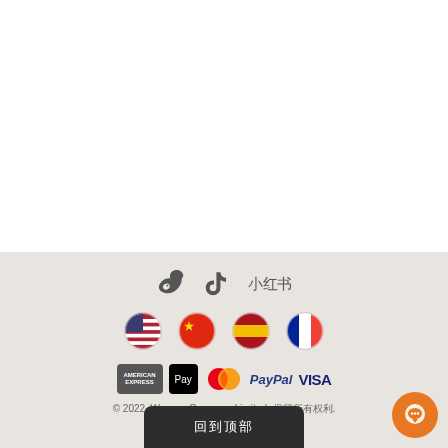[Figure (illustration): White top section of a webpage]
[Figure (illustration): Social media icons: Weibo, TikTok, and Xiaohongshu (小红书) on a beige/gray background]
[Figure (illustration): Four country flag circles: USA, China, Spain, France]
[Figure (illustration): Payment method badges: American Express, Apple Pay, Mastercard, PayPal, VISA]
© 2022, Wacaco Company Limited. 保留所有权利.
粤ICP备16064668号-1
[Figure (illustration): Orange chat bubble button (bottom right) and dark bottom bar with Chinese characters]